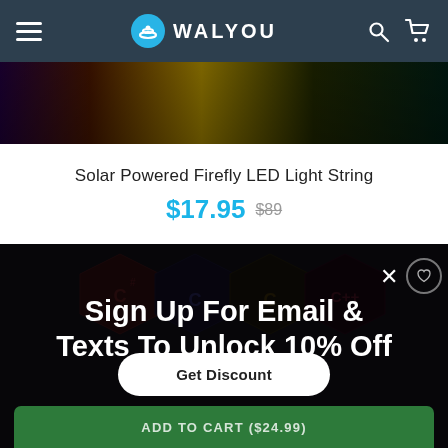WALYOU
[Figure (photo): Product image strip showing colorful LED lights with dark background in gradient of purple, gold, and dark green tones]
Solar Powered Firefly LED Light String
$17.95  $89
[Figure (screenshot): Email/text signup popup overlay on dark background with programming C/C++ hexagon icons. Shows 'Sign Up For Email & Texts To Unlock 10% Off' with a 'Get Discount' button and X close button. ADD TO CART ($24.99) button at bottom.]